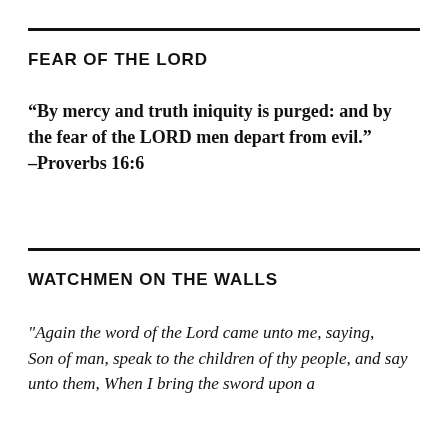FEAR OF THE LORD
“By mercy and truth iniquity is purged: and by the fear of the LORD men depart from evil.” –Proverbs 16:6
WATCHMEN ON THE WALLS
"Again the word of the Lord came unto me, saying,
Son of man, speak to the children of thy people, and say unto them, When I bring the sword upon a